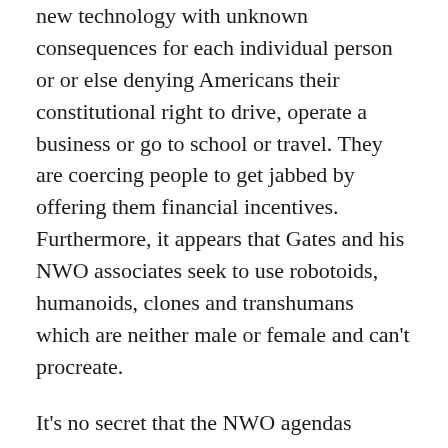new technology with unknown consequences for each individual person or or else denying Americans their constitutional right to drive, operate a business or go to school or travel. They are coercing people to get jabbed by offering them financial incentives. Furthermore, it appears that Gates and his NWO associates seek to use robotoids, humanoids, clones and transhumans which are neither male or female and can't procreate.
It's no secret that the NWO agendas blowing in the wind include the United Nations Agenda 21, 30 and 50 for depopulation of the planet. Bill Gates seeks to wipe out 90% ofthe population by 2050 and reduce the carbon monoxide down to zero by 2050. Americans should ask Bill Gates and the Democrats such as Hillary Clinton, who support the Planned Parenthood depopulation program, why they had children and grandchildren if they believe in